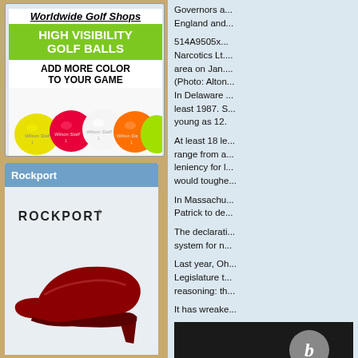[Figure (photo): Worldwide Golf Shops advertisement featuring High Visibility Golf Balls with colorful Wilson Staff golf balls image]
[Figure (photo): Rockport advertisement with a red high heel shoe on light background, with ROCKPORT logo text]
Governors a... England and...
514A9505x... Narcotics Lt.... area on Jan.... (Photo: Alton... In Delaware... least 1987. S... young as 12.
At least 18 le... range from a... leniency for l... would toughe...
In Massachu... Patrick to de...
The declarati... system for n...
Last year, Oh... Legislature t... reasoning: th...
It has wreake...